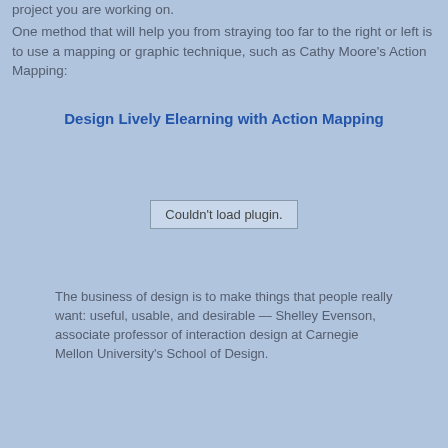project you are working on.
One method that will help you from straying too far to the right or left is to use a mapping or graphic technique, such as Cathy Moore's Action Mapping:
Design Lively Elearning with Action Mapping
[Figure (other): Embedded plugin area showing 'Couldn't load plugin.' message]
The business of design is to make things that people really want: useful, usable, and desirable — Shelley Evenson, associate professor of interaction design at Carnegie Mellon University's School of Design.